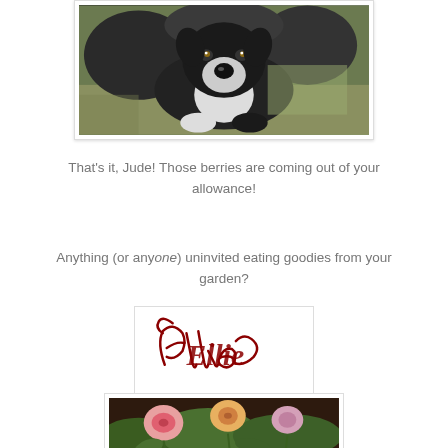[Figure (photo): A black and white dog (Jude) looking at the camera from above, outdoors on grass]
That's it, Jude! Those berries are coming out of your allowance!
Anything (or anyone) uninvited eating goodies from your garden?
[Figure (photo): Cursive signature reading 'Ellie' in dark red/maroon script]
[Figure (photo): Photo of flowers in a garden, showing pink and orange roses]